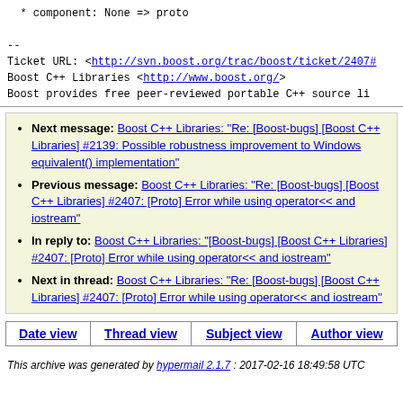* component: None => proto

--
Ticket URL: <http://svn.boost.org/trac/boost/ticket/2407#
Boost C++ Libraries <http://www.boost.org/>
Boost provides free peer-reviewed portable C++ source li
Next message: Boost C++ Libraries: "Re: [Boost-bugs] [Boost C++ Libraries] #2139: Possible robustness improvement to Windows equivalent() implementation"
Previous message: Boost C++ Libraries: "Re: [Boost-bugs] [Boost C++ Libraries] #2407: [Proto] Error while using operator<< and iostream"
In reply to: Boost C++ Libraries: "[Boost-bugs] [Boost C++ Libraries] #2407: [Proto] Error while using operator<< and iostream"
Next in thread: Boost C++ Libraries: "Re: [Boost-bugs] [Boost C++ Libraries] #2407: [Proto] Error while using operator<< and iostream"
| Date view | Thread view | Subject view | Author view |
| --- | --- | --- | --- |
This archive was generated by hypermail 2.1.7 : 2017-02-16 18:49:58 UTC